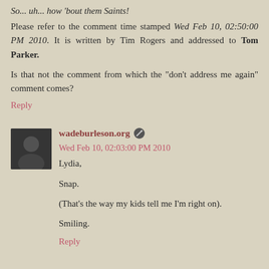So... uh... how 'bout them Saints!
Please refer to the comment time stamped Wed Feb 10, 02:50:00 PM 2010. It is written by Tim Rogers and addressed to Tom Parker.
Is that not the comment from which the "don't address me again" comment comes?
Reply
wadeburleson.org  Wed Feb 10, 02:03:00 PM 2010
Lydia,

Snap.

(That's the way my kids tell me I'm right on).

Smiling.
Reply